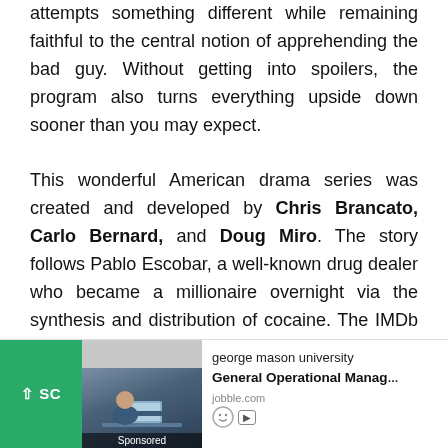attempts something different while remaining faithful to the central notion of apprehending the bad guy. Without getting into spoilers, the program also turns everything upside down sooner than you may expect.

This wonderful American drama series was created and developed by Chris Brancato, Carlo Bernard, and Doug Miro. The story follows Pablo Escobar, a well-known drug dealer who became a millionaire overnight via the synthesis and distribution of cocaine. The IMDb rating for an American historical crime drama television series is 8.8. It has 30 episodes divided into three seasons and is accessible on Netflix.
[Figure (other): Advertisement bar at bottom of page: green scroll button with up arrow and 'SC', sponsored image of person at desk, george mason university General Operational Manager job listing on jobble.com]